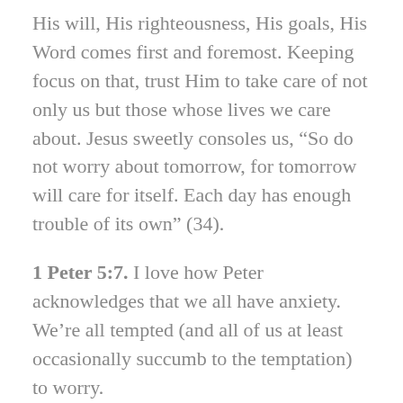His will, His righteousness, His goals, His Word comes first and foremost. Keeping focus on that, trust Him to take care of not only us but those whose lives we care about. Jesus sweetly consoles us, “So do not worry about tomorrow, for tomorrow will care for itself. Each day has enough trouble of its own” (34).
1 Peter 5:7. I love how Peter acknowledges that we all have anxiety. We’re all tempted (and all of us at least occasionally succumb to the temptation) to worry.